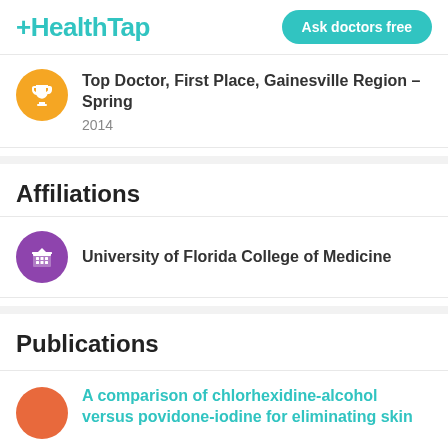HealthTap | Ask doctors free
Top Doctor, First Place, Gainesville Region – Spring
2014
Affiliations
University of Florida College of Medicine
Publications
A comparison of chlorhexidine-alcohol versus povidone-iodine for eliminating skin